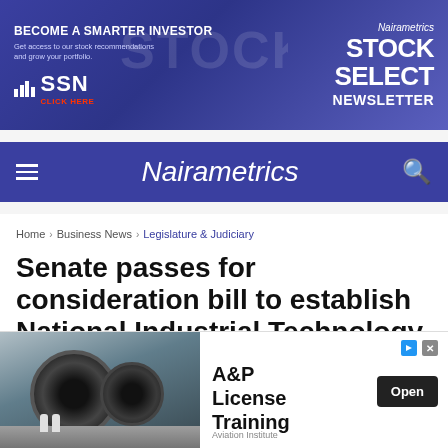[Figure (screenshot): Nairametrics Stock Select Newsletter advertisement banner with SSN logo on purple/blue background]
Nairametrics
Home > Business News > Legislature & Judiciary
Senate passes for consideration bill to establish National Industrial Technology park
[Figure (photo): Advertisement for A&P License Training from Aviation Institute, showing airplane jet engines with mechanics, with an Open button]